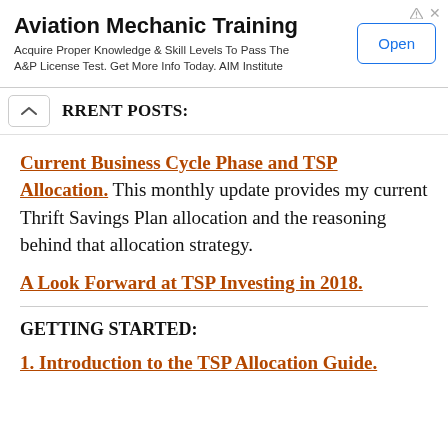[Figure (other): Advertisement banner for Aviation Mechanic Training with an Open button]
RRENT POSTS:
Current Business Cycle Phase and TSP Allocation. This monthly update provides my current Thrift Savings Plan allocation and the reasoning behind that allocation strategy.
A Look Forward at TSP Investing in 2018.
GETTING STARTED:
1. Introduction to the TSP Allocation Guide.